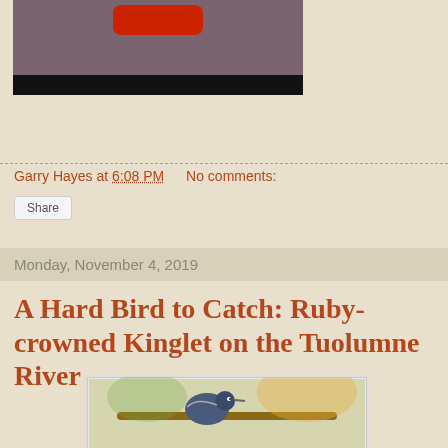[Figure (screenshot): Top portion of a blog page screenshot showing a video thumbnail with a red shape on a muted purple/grey background with a black bar at the bottom]
Garry Hayes at 6:08 PM   No comments:
Share
Monday, November 4, 2019
A Hard Bird to Catch: Ruby-crowned Kinglet on the Tuolumne River
[Figure (photo): Close-up photo of a small bird (Ruby-crowned Kinglet) perched on a branch, showing colorful feathers]